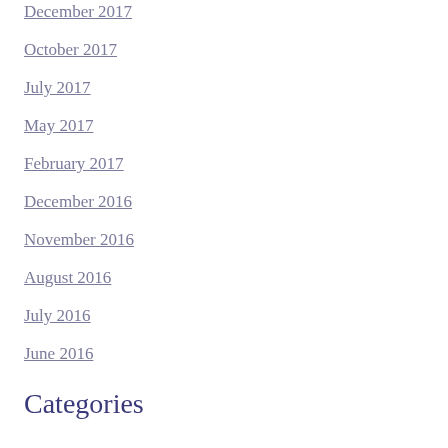December 2017
October 2017
July 2017
May 2017
February 2017
December 2016
November 2016
August 2016
July 2016
June 2016
Categories
All
RSS Feed
Subscribe to Email Updates